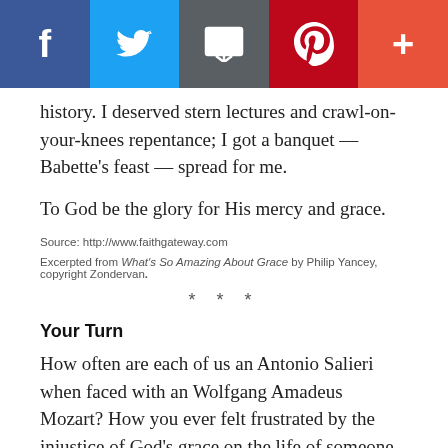[Figure (other): Social sharing bar with Facebook, Twitter, Email, Pinterest, and More (+) buttons]
history. I deserved stern lectures and crawl-on-your-knees repentance; I got a banquet — Babette's feast — spread for me.
To God be the glory for His mercy and grace.
Source: http://www.faithgateway.com
Excerpted from What's So Amazing About Grace by Philip Yancey, copyright Zondervan.
* * *
Your Turn
How often are each of us an Antonio Salieri when faced with an Wolfgang Amadeus Mozart? How you ever felt frustrated by the injustice of God's grace on the life of someone who doesn't deserve it? Come share with us here on our blog! We want to hear from you.